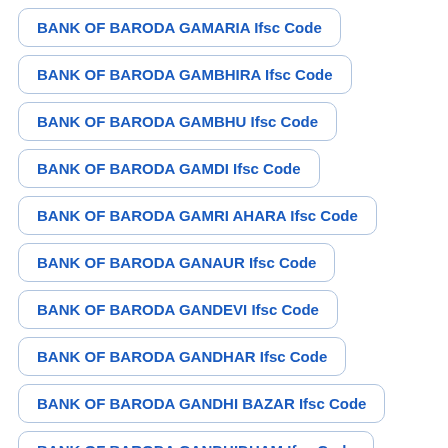BANK OF BARODA GAMARIA Ifsc Code
BANK OF BARODA GAMBHIRA Ifsc Code
BANK OF BARODA GAMBHU Ifsc Code
BANK OF BARODA GAMDI Ifsc Code
BANK OF BARODA GAMRI AHARA Ifsc Code
BANK OF BARODA GANAUR Ifsc Code
BANK OF BARODA GANDEVI Ifsc Code
BANK OF BARODA GANDHAR Ifsc Code
BANK OF BARODA GANDHI BAZAR Ifsc Code
BANK OF BARODA GANDHIDHAM Ifsc Code
BANK OF BARODA GANDHINAG Ifsc Code